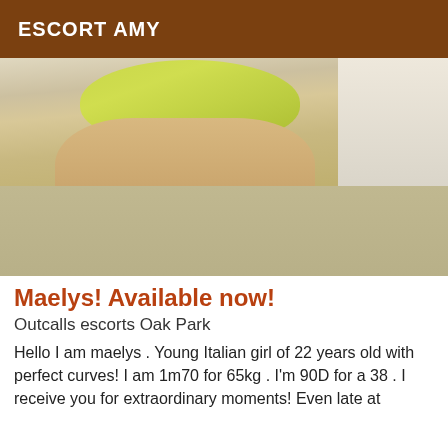ESCORT AMY
[Figure (photo): Close-up photo of a person wearing a yellow/lime green bikini, legs visible, tile and linoleum floor background]
Maelys! Available now!
Outcalls escorts Oak Park
Hello I am maelys . Young Italian girl of 22 years old with perfect curves! I am 1m70 for 65kg . I'm 90D for a 38 . I receive you for extraordinary moments! Even late at